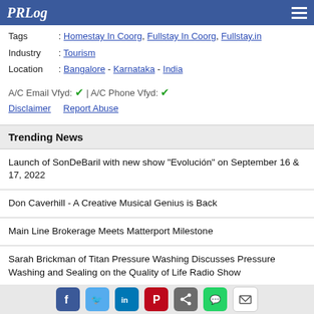PRLog
Tags : Homestay In Coorg, Fullstay In Coorg, Fullstay.in
Industry : Tourism
Location : Bangalore - Karnataka - India
A/C Email Vfyd: ✔ | A/C Phone Vfyd: ✔
Disclaimer   Report Abuse
Trending News
Launch of SonDeBaril with new show "Evolución" on September 16 & 17, 2022
Don Caverhill - A Creative Musical Genius is Back
Main Line Brokerage Meets Matterport Milestone
Sarah Brickman of Titan Pressure Washing Discusses Pressure Washing and Sealing on the Quality of Life Radio Show
Social share icons: Facebook, Twitter, LinkedIn, Pinterest, Share, WhatsApp, Email